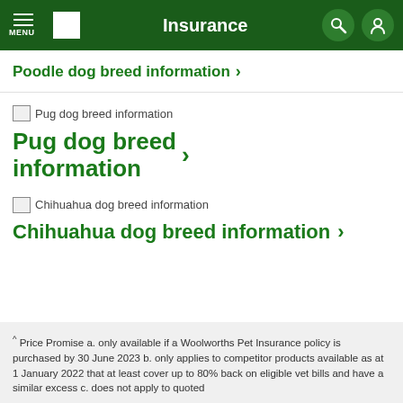Insurance
Poodle dog breed information >
[Figure (illustration): Placeholder image for Pug dog breed information]
Pug dog breed information >
[Figure (illustration): Placeholder image for Chihuahua dog breed information]
Chihuahua dog breed information >
^ Price Promise a. only available if a Woolworths Pet Insurance policy is purchased by 30 June 2023 b. only applies to competitor products available as at 1 January 2022 that at least cover up to 80% back on eligible vet bills and have a similar excess c. does not apply to quoted